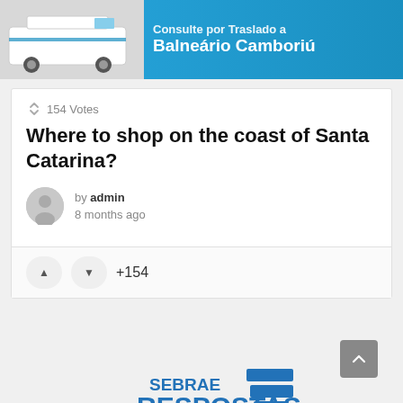[Figure (screenshot): Advertisement banner showing a white van on the left and text 'Consulte por Traslado a Balneário Camboriú' on a blue background]
154 Votes
Where to shop on the coast of Santa Catarina?
by admin
8 months ago
+154
[Figure (logo): Sebrae Respostas logo in blue]